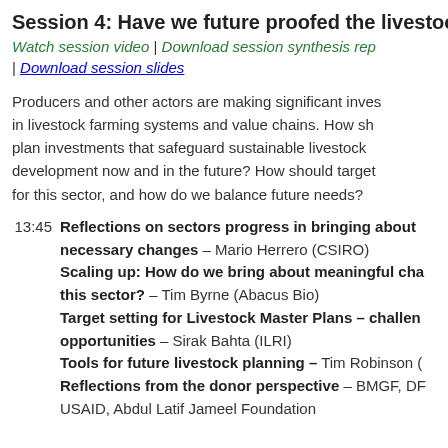Session 4: Have we future proofed the livestock se…
Watch session video | Download session synthesis rep… | Download session slides
Producers and other actors are making significant inves… in livestock farming systems and value chains. How sh… plan investments that safeguard sustainable livestock development now and in the future? How should target for this sector, and how do we balance future needs?
13:45 Reflections on sectors progress in bringing about necessary changes – Mario Herrero (CSIRO)
Scaling up: How do we bring about meaningful cha… this sector? – Tim Byrne (Abacus Bio)
Target setting for Livestock Master Plans – challen… opportunities – Sirak Bahta (ILRI)
Tools for future livestock planning – Tim Robinson (…
Reflections from the donor perspective – BMGF, DR… USAID, Abdul Latif Jameel Foundation